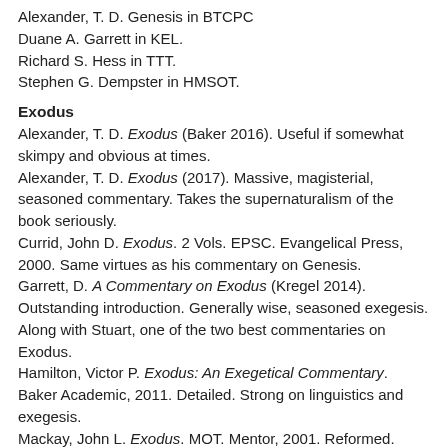Alexander, T. D. Genesis in BTCPC
Duane A. Garrett in KEL.
Richard S. Hess in TTT.
Stephen G. Dempster in HMSOT.
Exodus
Alexander, T. D. Exodus (Baker 2016). Useful if somewhat skimpy and obvious at times.
Alexander, T. D. Exodus (2017). Massive, magisterial, seasoned commentary. Takes the supernaturalism of the book seriously.
Currid, John D. Exodus. 2 Vols. EPSC. Evangelical Press, 2000. Same virtues as his commentary on Genesis.
Garrett, D. A Commentary on Exodus (Kregel 2014). Outstanding introduction. Generally wise, seasoned exegesis. Along with Stuart, one of the two best commentaries on Exodus.
Hamilton, Victor P. Exodus: An Exegetical Commentary. Baker Academic, 2011. Detailed. Strong on linguistics and exegesis.
Mackay, John L. Exodus. MOT. Mentor, 2001. Reformed. Good for pastors and laymen.
Stuart, Douglas K. Exodus. NAC 2. Broadman & Holman